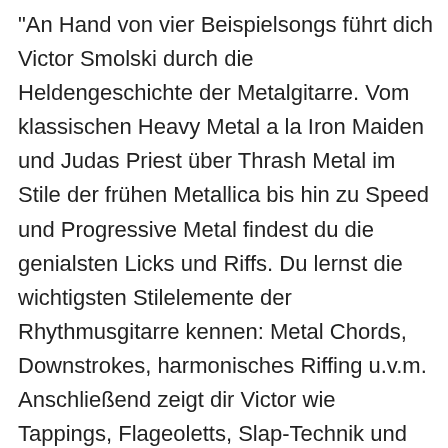"An Hand von vier Beispielsongs führt dich Victor Smolski durch die Heldengeschichte der Metalgitarre. Vom klassischen Heavy Metal a la Iron Maiden und Judas Priest über Thrash Metal im Stile der frühen Metallica bis hin zu Speed und Progressive Metal findest du die genialsten Licks und Riffs. Du lernst die wichtigsten Stilelemente der Rhythmusgitarre kennen: Metal Chords, Downstrokes, harmonisches Riffing u.v.m. Anschließend zeigt dir Victor wie Tappings, Flageoletts, Slap-Technik und Special-Effects dafür sorgen, dass den Zuhörern bei deinem Solo die Ohren aus dem Kopf fallen. Damit du richtig Spaß hast, enthält die DVD live eingespielte Playalongversionen der 4 Beispielsongs. Für alle